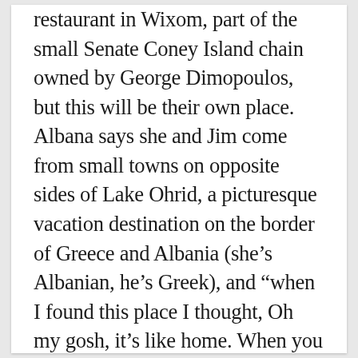The venue in city is a restaurant in Wixom, part of the small Senate Coney Island chain owned by George Dimopoulos, but this will be their own place. Albana says she and Jim come from small towns on opposite sides of Lake Ohrid, a picturesque vacation destination on the border of Greece and Albania (she’s Albanian, he’s Greek), and “when I found this place I thought, Oh my gosh, it’s like home. When you go out on the street, everyone is taking a walk, everyone says hi.”